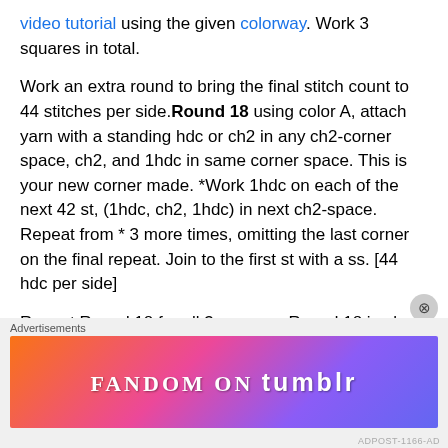video tutorial using the given colorway. Work 3 squares in total.
Work an extra round to bring the final stitch count to 44 stitches per side.Round 18 using color A, attach yarn with a standing hdc or ch2 in any ch2-corner space, ch2, and 1hdc in same corner space. This is your new corner made. *Work 1hdc on each of the next 42 st, (1hdc, ch2, 1hdc) in next ch2-space. Repeat from * 3 more times, omitting the last corner on the final repeat. Join to the first st with a ss. [44 hdc per side]
Repeat Round 18 for all 3 squares. Round 18 is also shown in THIS VIDEO. Block your squares to the following
[Figure (other): Fandom on Tumblr advertisement banner with colorful gradient background]